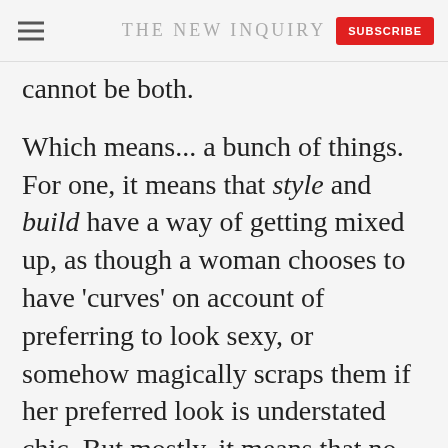THE NEW INQUIRY
cannot be both.
Which means... a bunch of things. For one, it means that style and build have a way of getting mixed up, as though a woman chooses to have 'curves' on account of preferring to look sexy, or somehow magically scraps them if her preferred look is understated chic. But mostly, it means that no woman can lay claim to physical perfection. If she's flawless in one arena, she's somehow lacking in the other.
We can, then, interpret this in two ways. One is the bleak - how unfair, we can never win. The other, the one I prefer, is to say, look, since no woman could ever possibly measure up, this